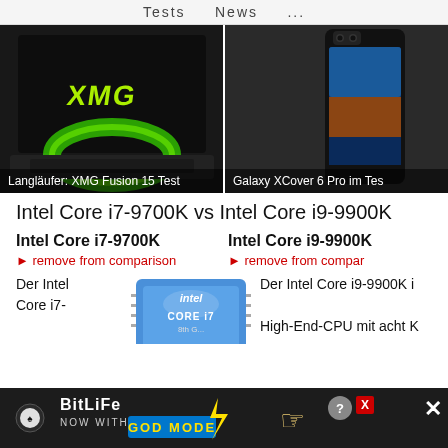Tests   News   ...
[Figure (photo): XMG laptop with green XMG logo on dark screen, labeled 'Langläufer: XMG Fusion 15 Test']
[Figure (photo): Samsung Galaxy XCover 6 Pro smartphone, labeled 'Galaxy XCover 6 Pro im Test']
Intel Core i7-9700K vs Intel Core i9-9900K
Intel Core i7-9700K
► remove from comparison
Intel Core i9-9900K
► remove from comparison
Der Intel Core i7-
[Figure (photo): Intel Core i7 8th Gen processor chip image]
Der Intel Core i9-9900K ist eine High-End-CPU mit acht K
[Figure (advertisement): BitLife advertisement banner: NOW WITH GOD MODE]